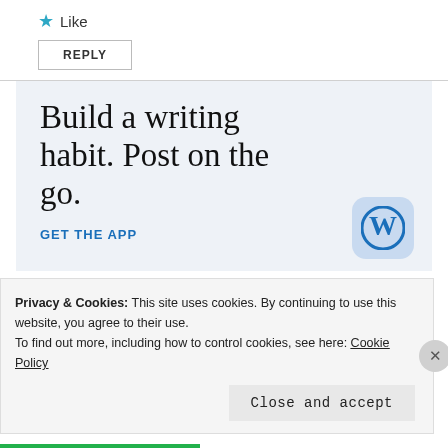Like
REPLY
[Figure (infographic): WordPress app advertisement banner with light blue background. Headline reads 'Build a writing habit. Post on the go.' with a 'GET THE APP' link and WordPress logo icon.]
Privacy & Cookies: This site uses cookies. By continuing to use this website, you agree to their use. To find out more, including how to control cookies, see here: Cookie Policy
Close and accept